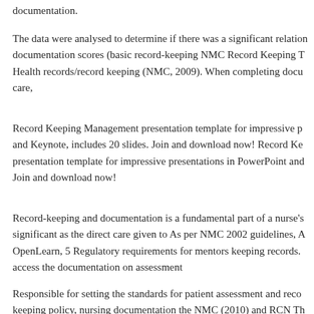documentation.
The data were analysed to determine if there was a significant relationship between documentation scores (basic record-keeping NMC Record Keeping T Health records/record keeping (NMC, 2009). When completing documentation on care,
Record Keeping Management presentation template for impressive presentations and Keynote, includes 20 slides. Join and download now! Record Keeping Management presentation template for impressive presentations in PowerPoint and Join and download now!
Record-keeping and documentation is a fundamental part of a nurse's role, as significant as the direct care given to As per NMC 2002 guidelines, A OpenLearn, 5 Regulatory requirements for mentors keeping records. access the documentation on assessment
Responsible for setting the standards for patient assessment and record keeping policy, nursing documentation the NMC (2010) and RCN T